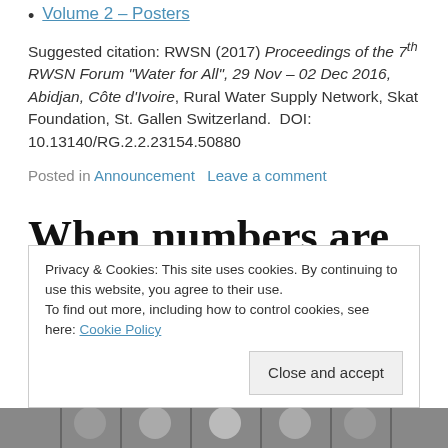Volume 2 – Posters
Suggested citation: RWSN (2017) Proceedings of the 7th RWSN Forum "Water for All", 29 Nov – 02 Dec 2016, Abidjan, Côte d'Ivoire, Rural Water Supply Network, Skat Foundation, St. Gallen Switzerland. DOI: 10.13140/RG.2.2.23154.50880
Posted in Announcement   Leave a comment
When numbers are
Privacy & Cookies: This site uses cookies. By continuing to use this website, you agree to their use.
To find out more, including how to control cookies, see here: Cookie Policy
[Figure (photo): Strip of portrait photos at the bottom of the page]